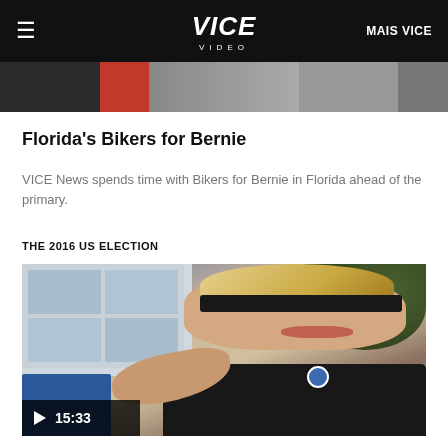VICE VIDEO  MAIS VICE
[Figure (photo): Partial image strip at top showing colorful cropped thumbnails]
Florida's Bikers for Bernie
VICE News spends time with Bikers for Bernie in Florida ahead of the primary.
THE 2016 US ELECTION
[Figure (photo): Elderly blonde woman with sunglasses and Bernie Sanders button, smiling and raising her hand. Video thumbnail with play button and timestamp 15:33.]